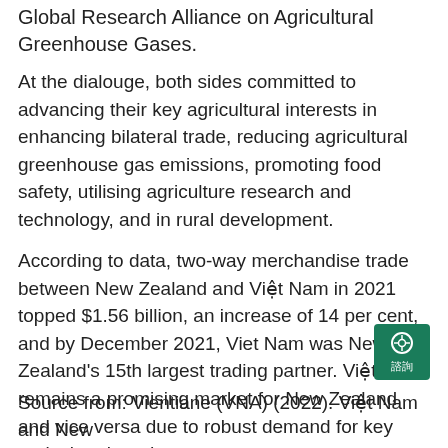Global Research Alliance on Agricultural Greenhouse Gases.
At the dialouge, both sides committed to advancing their key agricultural interests in enhancing bilateral trade, reducing agricultural greenhouse gas emissions, promoting food safety, utilising agriculture research and technology, and in rural development.
According to data, two-way merchandise trade between New Zealand and Việt Nam in 2021 topped $1.56 billion, an increase of 14 per cent, and by December 2021, Viet Nam was New Zealand's 15th largest trading partner. Việt Nam remains a promising market for New Zealand and vice versa due to robust demand for key agricultural products.
Source from: Vientiane (VNA) (2022). Việt Nam and New